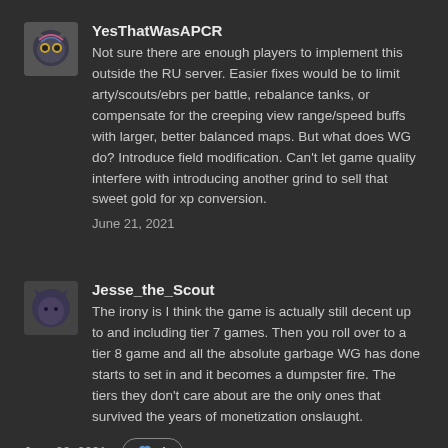YesThatWasAPCR
Not sure there are enough players to implement this outside the RU server. Easier fixes would be to limit arty/scouts/ebrs per battle, rebalance tanks, or compensate for the creeping view range/speed buffs with larger, better balanced maps. But what does WG do? Introduce field modification. Can't let game quality interfere with introducing another grind to sell that sweet gold for xp conversion.
June 21, 2021
Jesse_the_Scout
The irony is I think the game is actually still decent up to and including tier 7 games. Then you roll over to a tier 8 game and all the absolute garbage WG has done starts to set in and it becomes a dumpster fire. The tiers they don't care about are the only ones that survived the years of monetization onslaught.
June 22, 2021
1